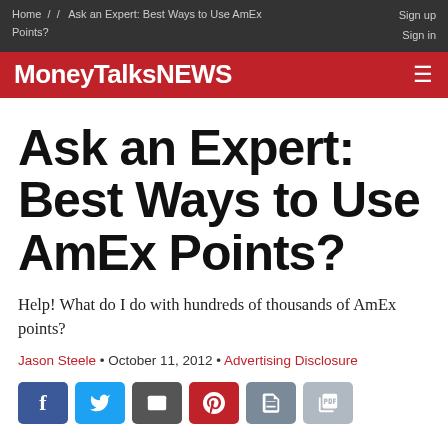Home / / Ask an Expert: Best Ways to Use AmEx Points?   Sign up  Sign in
[Figure (logo): MoneyTalksNews logo in white text on red background with hamburger menu icon]
Ask an Expert: Best Ways to Use AmEx Points?
Help! What do I do with hundreds of thousands of AmEx points?
Jason Steele • October 11, 2012 • Advertising Disclosure
[Figure (infographic): Row of social sharing buttons: Facebook, Twitter, Email, Pinterest, Print, PDF]